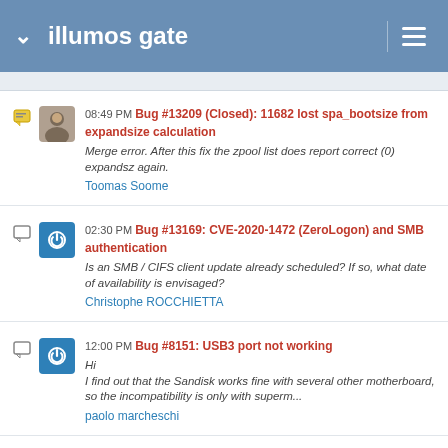illumos gate
08:49 PM Bug #13209 (Closed): 11682 lost spa_bootsize from expandsize calculation
Merge error. After this fix the zpool list does report correct (0) expandsz again.
Toomas Soome
02:30 PM Bug #13169: CVE-2020-1472 (ZeroLogon) and SMB authentication
Is an SMB / CIFS client update already scheduled? If so, what date of availability is envisaged?
Christophe ROCCHIETTA
12:00 PM Bug #8151: USB3 port not working
Hi
I find out that the Sandisk works fine with several other motherboard, so the incompatibility is only with superm...
paolo marcheschi